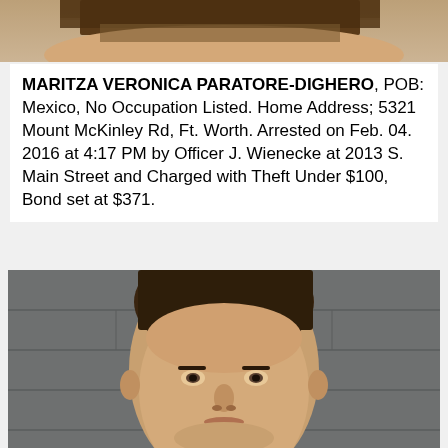[Figure (photo): Partial mugshot or photo visible at the top of the page, cropped showing forehead/hair area of a person]
MARITZA VERONICA PARATORE-DIGHERO, POB: Mexico, No Occupation Listed. Home Address; 5321 Mount McKinley Rd, Ft. Worth. Arrested on Feb. 04. 2016 at 4:17 PM by Officer J. Wienecke at 2013 S. Main Street and Charged with Theft Under $100, Bond set at $371.
[Figure (photo): Mugshot of a young white male with short dark brown spiky hair, wearing a dark shirt, photographed against a gray concrete block wall]